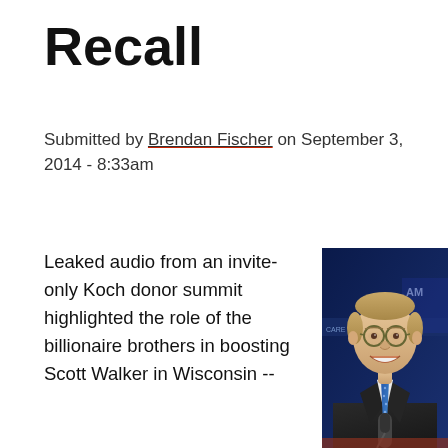Recall
Submitted by Brendan Fischer on September 3, 2014 - 8:33am
Leaked audio from an invite-only Koch donor summit highlighted the role of the billionaire brothers in boosting Scott Walker in Wisconsin --
[Figure (photo): Photo of a smiling middle-aged man in glasses, dark suit and blue tie, speaking at a podium with microphone, against a dark blue background with event signage.]